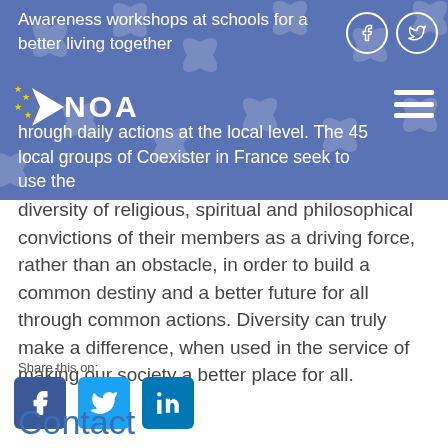Awareness workshops at schools for a better living together
[Figure (logo): NOA logo with EU star cluster and text NOA in white on blue banner]
Through daily actions at the local level. The 45 local groups of Coexister in France seek to use the diversity of religious, spiritual and philosophical convictions of their members as a driving force, rather than an obstacle, in order to build a common destiny and a better future for all through common actions. Diversity can truly make a difference, when used in the service of making our society a better place for all.
Share this on:
[Figure (infographic): Social share buttons: Facebook, Twitter, LinkedIn]
Contact